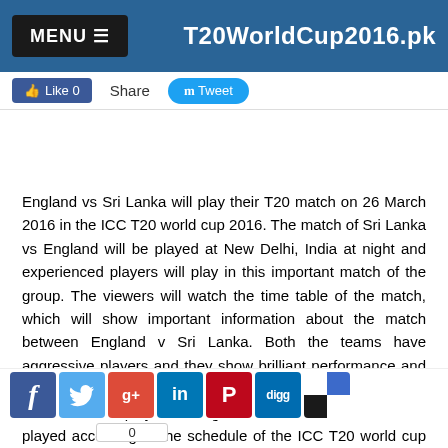MENU ☰   T20WorldCup2016.pk
Like 0   Share   Tweet
England vs Sri Lanka will play their T20 match on 26 March 2016 in the ICC T20 world cup 2016. The match of Sri Lanka vs England will be played at New Delhi, India at night and experienced players will play in this important match of the group. The viewers will watch the time table of the match, which will show important information about the match between England v Sri Lanka. Both the teams have aggressive players and they show brilliant performance and talents in the match between Sri Lanka v England. The names of the players are given in fixtures and it will be played according to the schedule of the ICC T20 world cup 2016. The viewers look at the schedule of the match of ENG v SL and the match will be played at its right time. The winner of this match will lead in the group and it may forward in
[Figure (screenshot): Social media sharing icons: Facebook, Twitter, Google+, LinkedIn, Pinterest, Digg, Delicious. Count: 0]